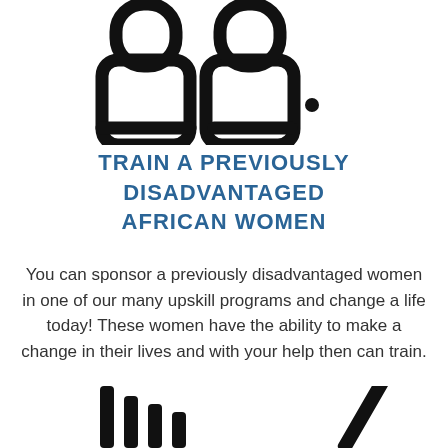[Figure (illustration): Two people icon (outline style) side by side, black line art on white background, cropped at top]
TRAIN A PREVIOUSLY DISADVANTAGED AFRICAN WOMEN
You can sponsor a previously disadvantaged women in one of our many upskill programs and change a life today! These women have the ability to make a change in their lives and with your help then can train.
[Figure (other): Red button labeled 'Sponsor R1' and a circular up-arrow button on the right]
[Figure (illustration): Bottom icons partially visible — vertical bars and angled shape, black line art]